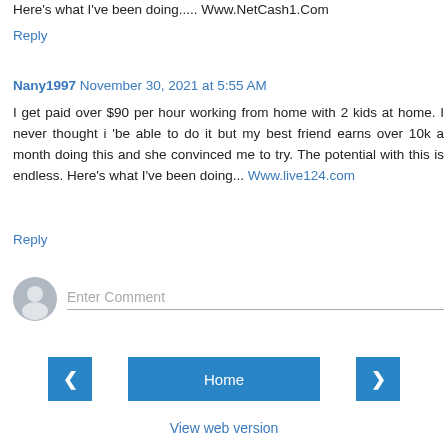Here's what I've been doing..... Www.NetCash1.Com
Reply
Nany1997  November 30, 2021 at 5:55 AM
I get paid over $90 per hour working from home with 2 kids at home. I never thought i 'be able to do it but my best friend earns over 10k a month doing this and she convinced me to try. The potential with this is endless. Here's what I've been doing... Www.live124.com
Reply
Enter Comment
Home
View web version